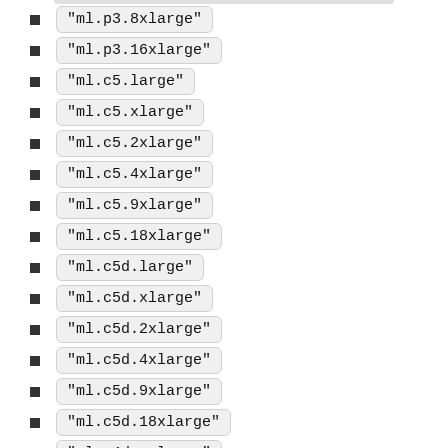"ml.p3.8xlarge"
"ml.p3.16xlarge"
"ml.c5.large"
"ml.c5.xlarge"
"ml.c5.2xlarge"
"ml.c5.4xlarge"
"ml.c5.9xlarge"
"ml.c5.18xlarge"
"ml.c5d.large"
"ml.c5d.xlarge"
"ml.c5d.2xlarge"
"ml.c5d.4xlarge"
"ml.c5d.9xlarge"
"ml.c5d.18xlarge"
"ml.g4dn.xlarge"
"ml.g4dn.2xlarge"